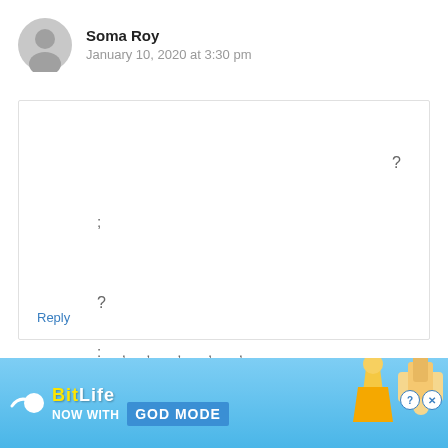[Figure (illustration): Gray circular avatar icon with silhouette of a person]
Soma Roy
January 10, 2020 at 3:30 pm
? ; ? ; , , , , ,
Reply
[Figure (screenshot): BitLife advertisement banner: NOW WITH GOD MODE, with sperm icon and pointing hand graphic]